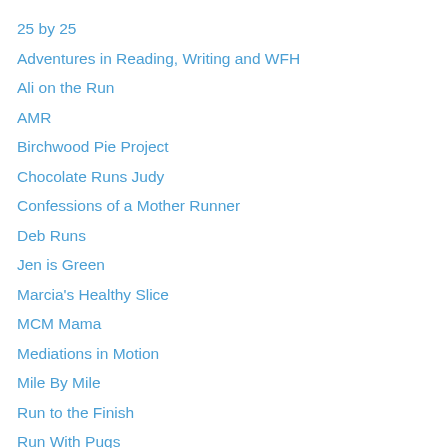25 by 25
Adventures in Reading, Writing and WFH
Ali on the Run
AMR
Birchwood Pie Project
Chocolate Runs Judy
Confessions of a Mother Runner
Deb Runs
Jen is Green
Marcia's Healthy Slice
MCM Mama
Mediations in Motion
Mile By Mile
Run to the Finish
Run With Pugs
Running with Attitude
Running With Perseverance
Shut Up and Run
Taking the Long Way Home